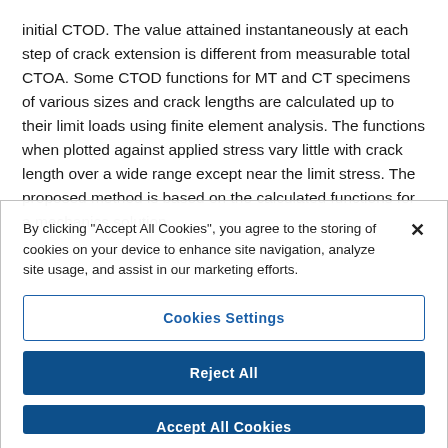initial CTOD. The value attained instantaneously at each step of crack extension is different from measurable total CTOA. Some CTOD functions for MT and CT specimens of various sizes and crack lengths are calculated up to their limit loads using finite element analysis. The functions when plotted against applied stress vary little with crack length over a wide range except near the limit stress. The proposed method is based on the calculated functions for a mechanics solution.
By clicking "Accept All Cookies", you agree to the storing of cookies on your device to enhance site navigation, analyze site usage, and assist in our marketing efforts.
Cookies Settings
Reject All
Accept All Cookies